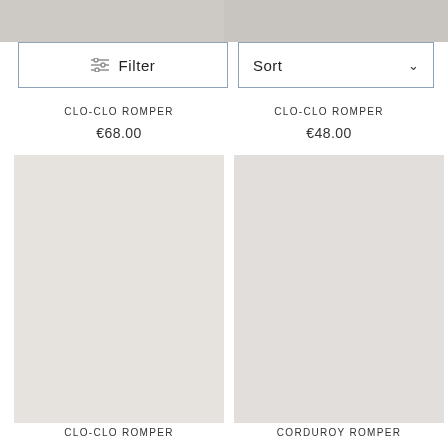[Figure (photo): Top portion of two product images, cropped at top of page]
Filter
Sort
CLO-CLO ROMPER
€68.00
CLO-CLO ROMPER
€48.00
[Figure (photo): Product image left column, second row]
[Figure (photo): Product image right column, second row]
CLO-CLO ROMPER
CORDUROY ROMPER